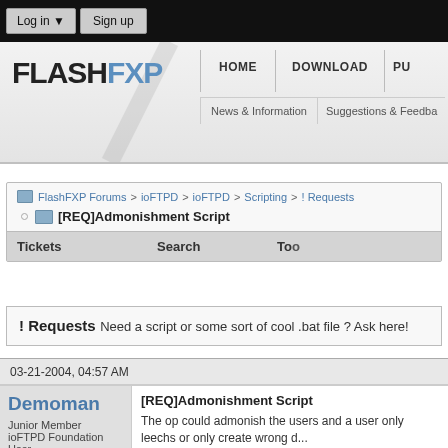Log in ▼   Sign up
[Figure (logo): FlashFXP logo with navigation: HOME, DOWNLOAD, PU... and News & Information, Suggestions & Feedback]
FlashFXP Forums > ioFTPD > ioFTPD > Scripting > ! Requests
[REQ]Admonishment Script
Tickets   Search   To...
! Requests Need a script or some sort of cool .bat file ? Ask here!
03-21-2004, 04:57 AM
Demoman
Junior Member
ioFTPD Foundation User
Join Date: Dec 2003
[REQ]Admonishment Script
The op could admonish the users and a user only leechs or only create wrong d...